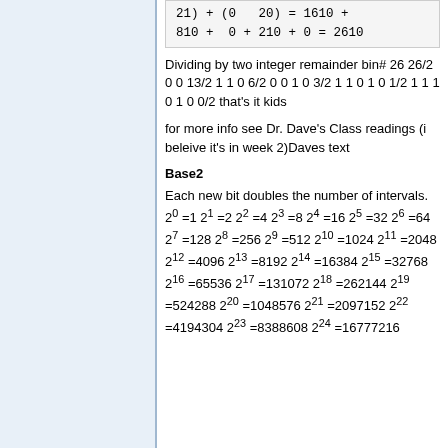Dividing by two integer remainder bin# 26 26/2 0 0 13/2 1 1 0 6/2 0 0 1 0 3/2 1 1 0 1 0 1/2 1 1 1 0 1 0 0/2 that's it kids
for more info see Dr. Dave's Class readings (i beleive it's in week 2)Daves text
Base2
Each new bit doubles the number of intervals. 20 =1 21 =2 22 =4 23 =8 24 =16 25 =32 26 =64 27 =128 28 =256 29 =512 210 =1024 211 =2048 212 =4096 213 =8192 214 =16384 215 =32768 216 =65536 217 =131072 218 =262144 219 =524288 220 =1048576 221 =2097152 222 =4194304 223 =8388608 224 =16777216